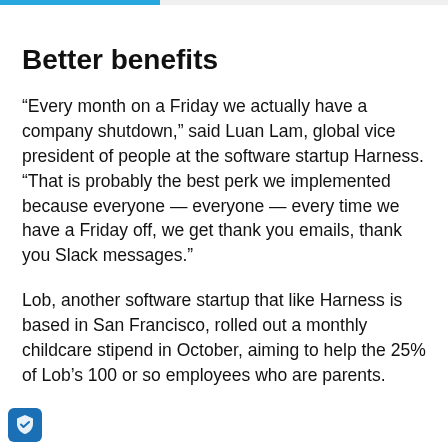Better benefits
“Every month on a Friday we actually have a company shutdown,” said Luan Lam, global vice president of people at the software startup Harness. “That is probably the best perk we implemented because everyone — everyone — every time we have a Friday off, we get thank you emails, thank you Slack messages.”
Lob, another software startup that like Harness is based in San Francisco, rolled out a monthly childcare stipend in October, aiming to help the 25% of Lob’s 100 or so employees who are parents.